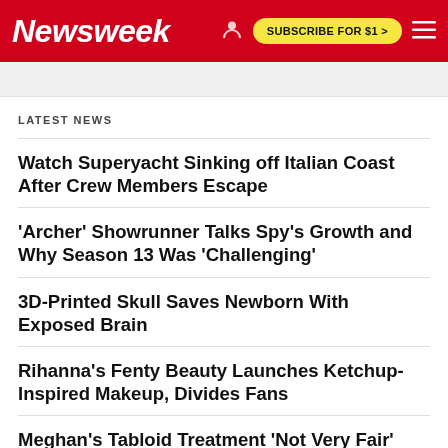Newsweek | SUBSCRIBE FOR $1 >
LATEST NEWS
Watch Superyacht Sinking off Italian Coast After Crew Members Escape
'Archer' Showrunner Talks Spy's Growth and Why Season 13 Was 'Challenging'
3D-Printed Skull Saves Newborn With Exposed Brain
Rihanna's Fenty Beauty Launches Ketchup-Inspired Makeup, Divides Fans
Meghan's Tabloid Treatment 'Not Very Fair' Says Prime Minister's Sister